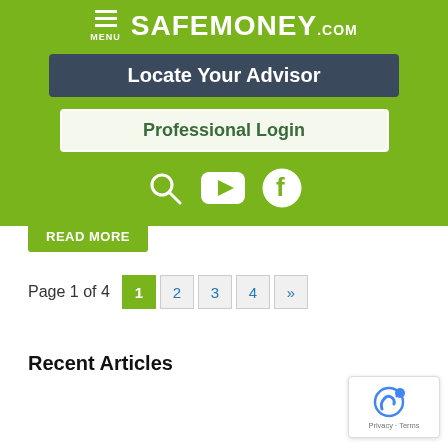[Figure (screenshot): SafeMoney.com website header on green background with menu icon, site logo, Locate Your Advisor button, Professional Login button, and social media icons (search, YouTube, Facebook)]
Read More
Page 1 of 4  1  2  3  4  »
Recent Articles
[Figure (logo): reCAPTCHA badge with Privacy and Terms text]